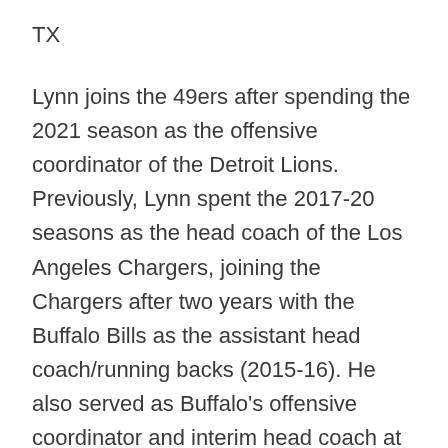TX
Lynn joins the 49ers after spending the 2021 season as the offensive coordinator of the Detroit Lions. Previously, Lynn spent the 2017-20 seasons as the head coach of the Los Angeles Chargers, joining the Chargers after two years with the Buffalo Bills as the assistant head coach/running backs (2015-16). He also served as Buffalo's offensive coordinator and interim head coach at points of the 2016 season.
Prior to his time in Buffalo, Lynn worked with the New York Jets as their running